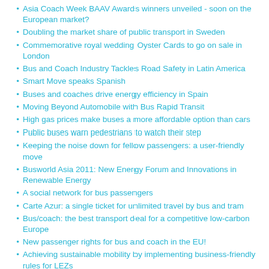Asia Coach Week BAAV Awards winners unveiled - soon on the European market?
Doubling the market share of public transport in Sweden
Commemorative royal wedding Oyster Cards to go on sale in London
Bus and Coach Industry Tackles Road Safety in Latin America
Smart Move speaks Spanish
Buses and coaches drive energy efficiency in Spain
Moving Beyond Automobile with Bus Rapid Transit
High gas prices make buses a more affordable option than cars
Public buses warn pedestrians to watch their step
Keeping the noise down for fellow passengers: a user-friendly move
Busworld Asia 2011: New Energy Forum and Innovations in Renewable Energy
A social network for bus passengers
Carte Azur: a single ticket for unlimited travel by bus and tram
Bus/coach: the best transport deal for a competitive low-carbon Europe
New passenger rights for bus and coach in the EU!
Achieving sustainable mobility by implementing business-friendly rules for LEZs